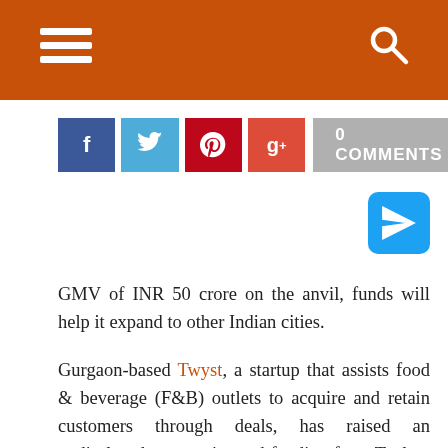[Figure (other): Orange header navigation bar with hamburger menu icon on left and search icon on right]
[Figure (other): Social sharing buttons: Facebook (blue), Twitter (light blue), Pinterest (red), Google+ (red-orange), and 0 COMMENTS grey button]
[Figure (other): Blue send/share button icon (paper plane) on right side]
GMV of INR 50 crore on the anvil, funds will help it expand to other Indian cities.
Gurgaon-based Twyst, a startup that assists food & beverage (F&B) outlets to acquire and retain customers through deals, has raised an undisclosed amount in seed funding from Taplow Executive Search's Rohit Bhatia, serial entrepreneur Sunil Nikhar and other investors.
Vaibhav Domkundwar, CEO, Better Labs & Siddharth Nautiyal, former director, Bessemer Ventures also put money in this round, as per a press statement. The